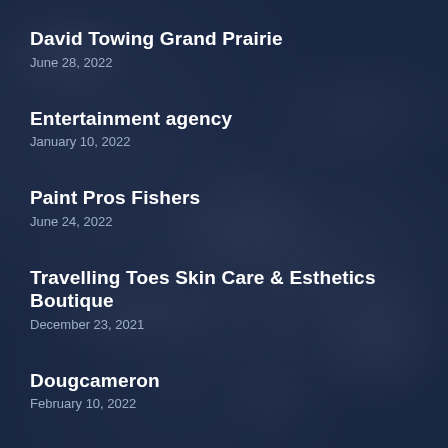David Towing Grand Prairie
June 28, 2022
Entertainment agency
January 10, 2022
Paint Pros Fishers
June 24, 2022
Travelling Toes Skin Care & Esthetics Boutique
December 23, 2021
Dougcameron
February 10, 2022